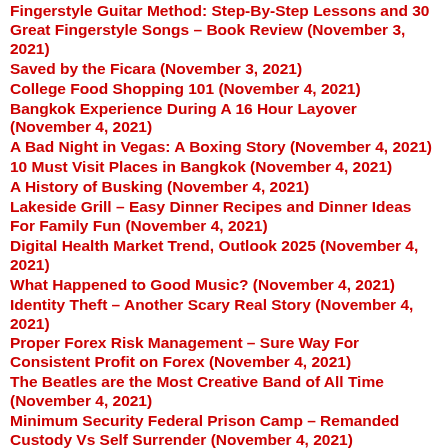Fingerstyle Guitar Method: Step-By-Step Lessons and 30 Great Fingerstyle Songs – Book Review (November 3, 2021)
Saved by the Ficara (November 3, 2021)
College Food Shopping 101 (November 4, 2021)
Bangkok Experience During A 16 Hour Layover (November 4, 2021)
A Bad Night in Vegas: A Boxing Story (November 4, 2021)
10 Must Visit Places in Bangkok (November 4, 2021)
A History of Busking (November 4, 2021)
Lakeside Grill – Easy Dinner Recipes and Dinner Ideas For Family Fun (November 4, 2021)
Digital Health Market Trend, Outlook 2025 (November 4, 2021)
What Happened to Good Music? (November 4, 2021)
Identity Theft – Another Scary Real Story (November 4, 2021)
Proper Forex Risk Management – Sure Way For Consistent Profit on Forex (November 4, 2021)
The Beatles are the Most Creative Band of All Time (November 4, 2021)
Minimum Security Federal Prison Camp – Remanded Custody Vs Self Surrender (November 4, 2021)
What Makes Online Shopping Ideal During the Pandemic (November 4, 2021)
A Brief History on the Checkered Pattern (November 4, 2021)
Stun Gun Voltage – How Much Will I Need to Disable My Attacker? (November 4, 2021)